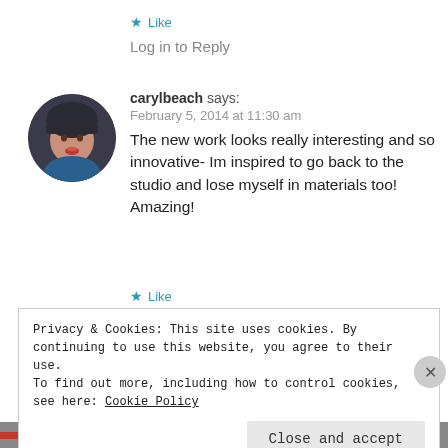★ Like
Log in to Reply
carylbeach says:
February 5, 2014 at 11:30 am
The new work looks really interesting and so innovative- Im inspired to go back to the studio and lose myself in materials too! Amazing!
★ Like
Privacy & Cookies: This site uses cookies. By continuing to use this website, you agree to their use.
To find out more, including how to control cookies, see here: Cookie Policy
Close and accept